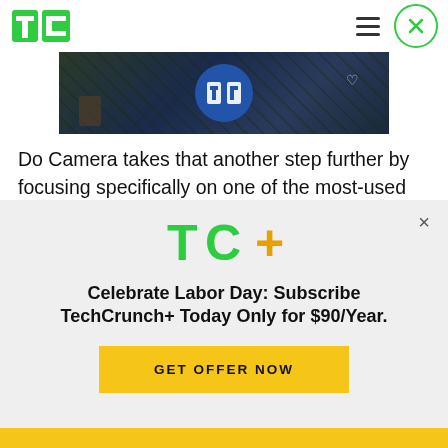TechCrunch — TC logo and navigation
[Figure (photo): Article header image showing an aerial/nature scene with a blue circular logo element]
Do Camera takes that another step further by focusing specifically on one of the most-used features of smartphones — taking pictures. In its first version, this is basically One More Photo App for your smartphone, but with a twist: it lets you create actions for where you might like to share
[Figure (infographic): TC+ subscription promotional banner with TechCrunch+ logo, headline, and CTA button]
Celebrate Labor Day: Subscribe TechCrunch+ Today Only for $90/Year.
GET OFFER NOW